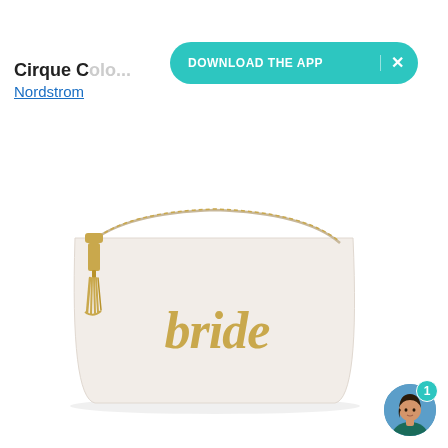Cirque C...
Nordstrom
[Figure (other): App download banner with teal/turquoise pill-shaped button reading 'DOWNLOAD THE APP' with an X close button]
[Figure (photo): White cream-colored cosmetic/makeup bag pouch with gold zipper and gold tassel on the left side, with 'bride' written in gold script lettering on the front]
[Figure (illustration): Circular chat avatar icon showing a woman with dark hair and blue/teal outfit, with a teal notification badge showing the number 1]